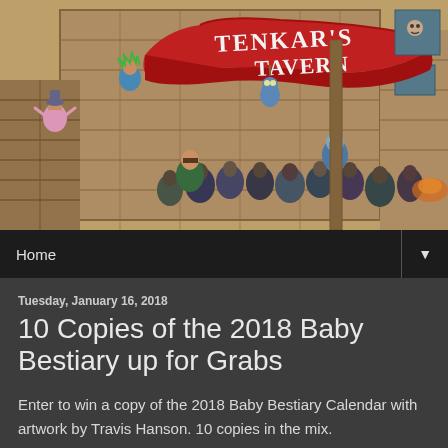[Figure (illustration): Tenkar's Tavern banner illustration showing a crowded cartoon tavern scene with a large red ribbon sign reading TENKAR'S TAVERN. Various animated characters are depicted inside and around a wooden tavern building.]
Home ▼
Tuesday, January 16, 2018
10 Copies of the 2018 Baby Bestiary up for Grabs
Enter to win a copy of the 2018 Baby Bestiary Calendar with artwork by Travis Hanson. 10 copies in the mix.
edit